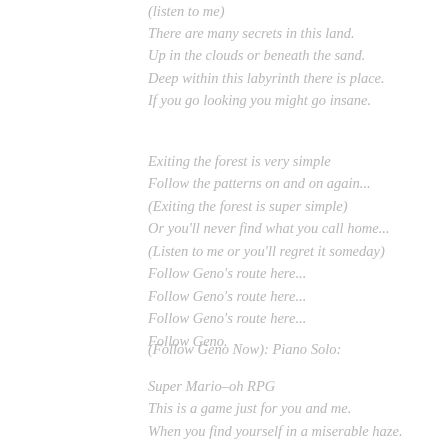(listen to me)
There are many secrets in this land.
Up in the clouds or beneath the sand.
Deep within this labyrinth there is place.
If you go looking you might go insane.
Exiting the forest is very simple
Follow the patterns on and on again...
(Exiting the forest is super simple)
Or you'll never find what you call home...
(Listen to me or you'll regret it someday)
Follow Geno's route here...
Follow Geno's route here...
Follow Geno's route here...
Follow Geno.
(Follow Geno Now): Piano Solo:
Super Mario–oh RPG
This is a game just for you and me.
When you find yourself in a miserable haze.